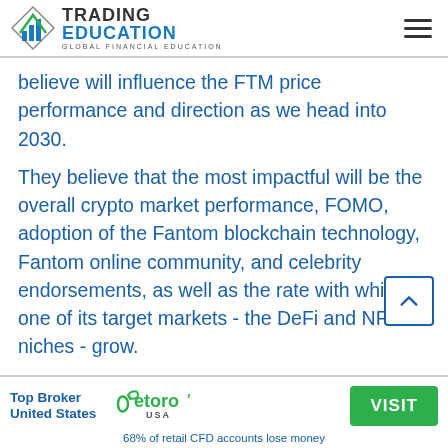TRADING EDUCATION — GLOBAL FINANCIAL EDUCATION
believe will influence the FTM price performance and direction as we head into 2030.
They believe that the most impactful will be the overall crypto market performance, FOMO, adoption of the Fantom blockchain technology, Fantom online community, and celebrity endorsements, as well as the rate with which one of its target markets - the DeFi and NFT niches - grow.
[Figure (logo): eToro USA logo]
Top Broker United States
VISIT
68% of retail CFD accounts lose money